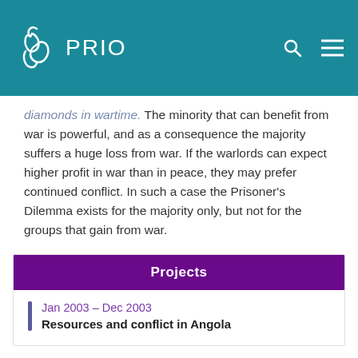PRIO
diamonds in wartime. The minority that can benefit from war is powerful, and as a consequence the majority suffers a huge loss from war. If the warlords can expect higher profit in war than in peace, they may prefer continued conflict. In such a case the Prisoner's Dilemma exists for the majority only, but not for the groups that gain from war.
Projects
Jan 2003 – Dec 2003
Resources and conflict in Angola
Authors